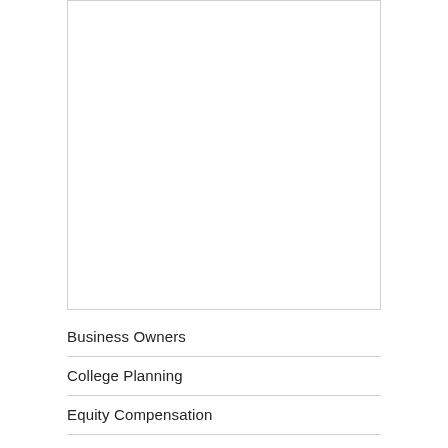[Figure (other): White rectangular box area, empty content region with light gray border]
Business Owners
College Planning
Equity Compensation